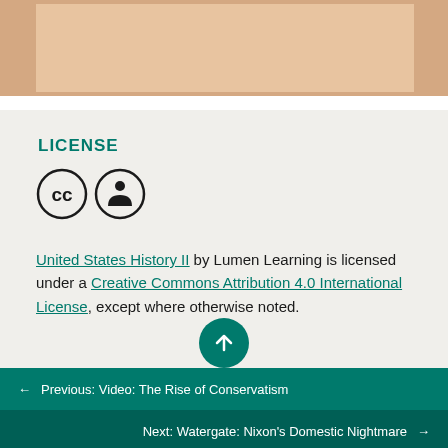[Figure (illustration): Decorative salmon/tan colored banner image at top of page]
LICENSE
[Figure (logo): Creative Commons license icons: CC circle and Attribution (person) circle]
United States History II by Lumen Learning is licensed under a Creative Commons Attribution 4.0 International License, except where otherwise noted.
← Previous: Video: The Rise of Conservatism
Next: Watergate: Nixon's Domestic Nightmare →